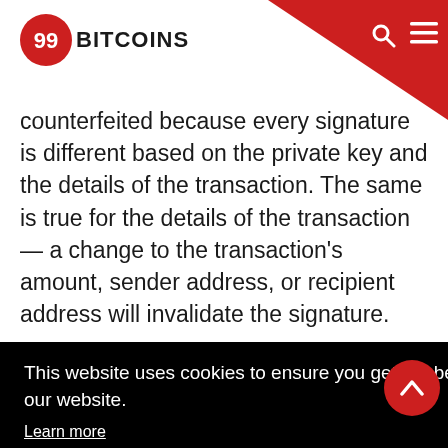99BITCOINS
counterfeited because every signature is different based on the private key and the details of the transaction. The same is true for the details of the transaction — a change to the transaction's amount, sender address, or recipient address will invalidate the signature.
This website uses cookies to ensure you get the best experience on our website. Learn more
Accept
that
transaction that does not have a valid signature, or